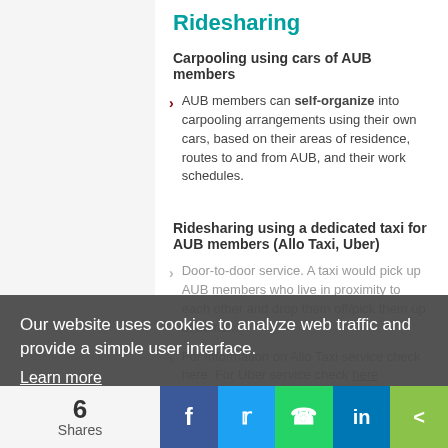Ridesharing
Carpooling using cars of AUB members
AUB members can self-organize into carpooling arrangements using their own cars, based on their areas of residence, routes to and from AUB, and their work schedules.
Ridesharing using a dedicated taxi for AUB members (Allo Taxi, Uber)
Door-to-door service. A taxi would pick up AUB members who live in proximity to each other and drop them off/pick them up at some...
For information on Allo Taxi service check here. For Uber service check here
Our website uses cookies to analyze web traffic and provide a simple user interface.
Learn more
Got it!
6
Shares